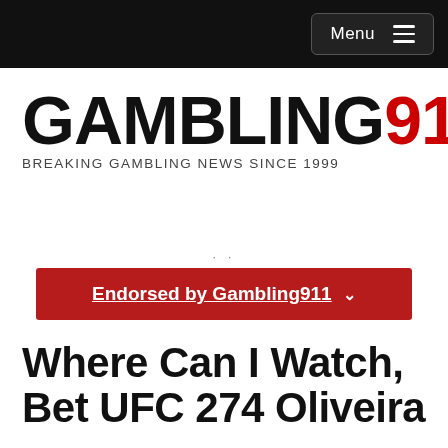Menu
[Figure (logo): Gambling911 logo with text GAMBLING in black bold and 911 in red/orange, tagline BREAKING GAMBLING NEWS SINCE 1999]
Endorsed by Gambling911
Where Can I Watch, Bet UFC 274 Oliveira